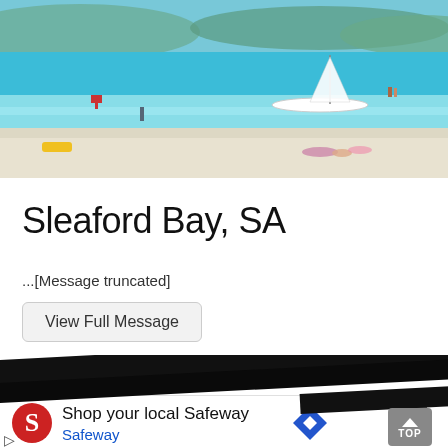[Figure (photo): Beach scene at Sleaford Bay SA showing clear turquoise water, white sand, a sailboat, people on the water, and hills in the background]
Sleaford Bay, SA
...[Message truncated]
View Full Message
[Figure (screenshot): Partially visible redacted/blacked-out content with overlapping black bars covering interface elements]
[Figure (screenshot): Advertisement banner: Shop your local Safeway - Safeway, with logo and navigation icon. Close button and TOP button visible.]